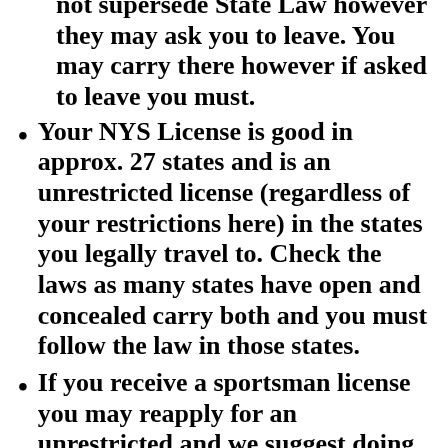not supersede State Law however they may ask you to leave.  You may carry there however if asked to leave you must.
Your NYS License is good in approx. 27 states and is an unrestricted license (regardless of your restrictions here) in the states you legally travel to.  Check the laws as many states have open and concealed carry both and you must follow the law in those states.
If you receive a sportsman license you may reapply for an unrestricted and we suggest doing so (add other courses to your resume before doing so).